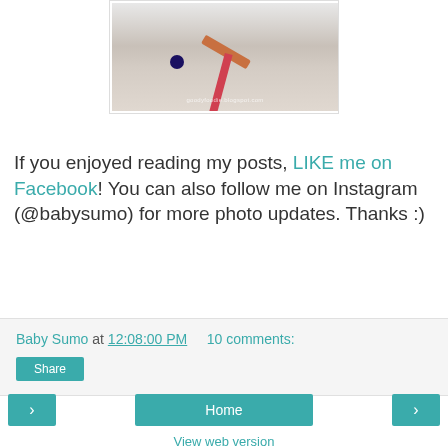[Figure (photo): Food photo showing a blueberry, a cinnamon stick, a red stripe item on a light fabric background with a watermark text 'goodyfoodie.blogspot.com']
If you enjoyed reading my posts, LIKE me on Facebook! You can also follow me on Instagram (@babysumo) for more photo updates. Thanks :)
Baby Sumo at 12:08:00 PM   10 comments:
Share
< Home >
View web version